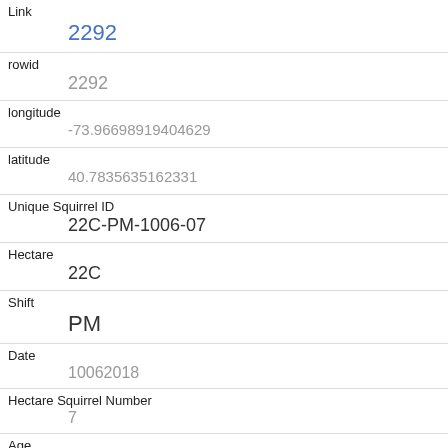| Field | Value |
| --- | --- |
| Link | 2292 |
| rowid | 2292 |
| longitude | -73.96698919404629 |
| latitude | 40.7835635162331 |
| Unique Squirrel ID | 22C-PM-1006-07 |
| Hectare | 22C |
| Shift | PM |
| Date | 10062018 |
| Hectare Squirrel Number | 7 |
| Age | Adult |
| Primary Fur Color |  |